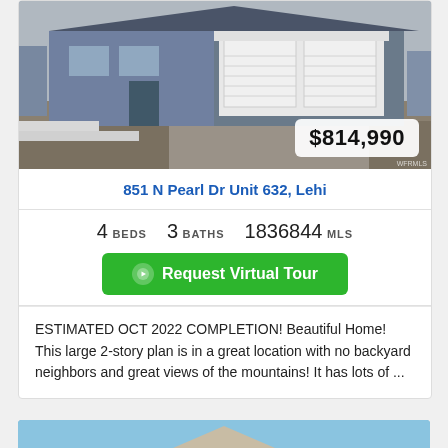[Figure (photo): Exterior photo of a new construction house with gray siding and white garage doors, with snow on the ground]
$814,990
851 N Pearl Dr Unit 632, Lehi
4 BEDS   3 BATHS   1836844 MLS
Request Virtual Tour
ESTIMATED OCT 2022 COMPLETION! Beautiful Home! This large 2-story plan is in a great location with no backyard neighbors and great views of the mountains! It has lots of ...
[Figure (photo): Exterior photo of another house with blue sky background, partially visible]